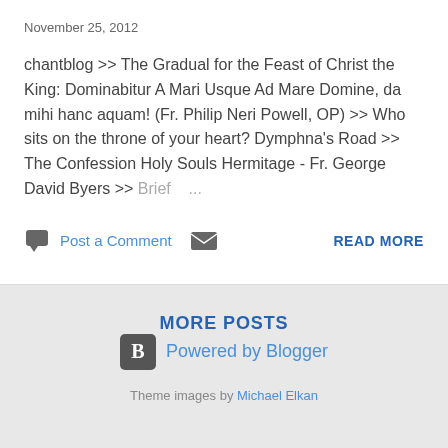November 25, 2012
chantblog >> The Gradual for the Feast of Christ the King: Dominabitur A Mari Usque Ad Mare Domine, da mihi hanc aquam! (Fr. Philip Neri Powell, OP) >> Who sits on the throne of your heart? Dymphna's Road >> The Confession Holy Souls Hermitage - Fr. George David Byers >> Brief ...
Post a Comment
READ MORE
MORE POSTS
Powered by Blogger
Theme images by Michael Elkan